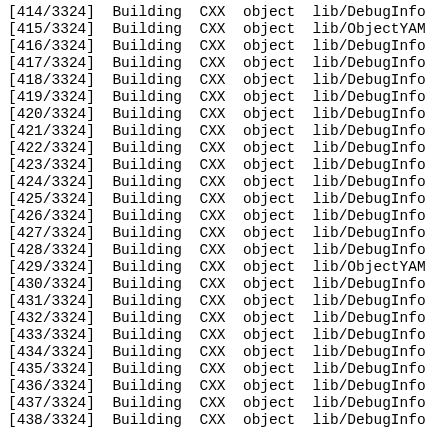[414/3324] Building CXX object lib/DebugInfo...
[415/3324] Building CXX object lib/ObjectYAML...
[416/3324] Building CXX object lib/DebugInfo...
[417/3324] Building CXX object lib/DebugInfo...
[418/3324] Building CXX object lib/DebugInfo...
[419/3324] Building CXX object lib/DebugInfo...
[420/3324] Building CXX object lib/DebugInfo...
[421/3324] Building CXX object lib/DebugInfo...
[422/3324] Building CXX object lib/DebugInfo...
[423/3324] Building CXX object lib/DebugInfo...
[424/3324] Building CXX object lib/DebugInfo...
[425/3324] Building CXX object lib/DebugInfo...
[426/3324] Building CXX object lib/DebugInfo...
[427/3324] Building CXX object lib/DebugInfo...
[428/3324] Building CXX object lib/DebugInfo...
[429/3324] Building CXX object lib/ObjectYAML...
[430/3324] Building CXX object lib/DebugInfo...
[431/3324] Building CXX object lib/DebugInfo...
[432/3324] Building CXX object lib/DebugInfo...
[433/3324] Building CXX object lib/DebugInfo...
[434/3324] Building CXX object lib/DebugInfo...
[435/3324] Building CXX object lib/DebugInfo...
[436/3324] Building CXX object lib/DebugInfo...
[437/3324] Building CXX object lib/DebugInfo...
[438/3324] Building CXX object lib/DebugInfo...